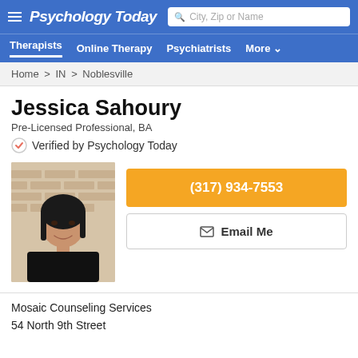Psychology Today
Therapists  Online Therapy  Psychiatrists  More
Home > IN > Noblesville
Jessica Sahoury
Pre-Licensed Professional, BA
Verified by Psychology Today
[Figure (photo): Profile photo of Jessica Sahoury, a woman with dark hair wearing a black top, smiling in front of a brick wall]
(317) 934-7553
Email Me
Mosaic Counseling Services
54 North 9th Street